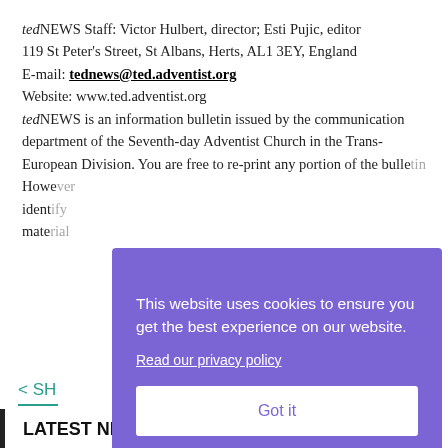tedNEWS Staff: Victor Hulbert, director; Esti Pujic, editor
119 St Peter's Street, St Albans, Herts, AL1 3EY, England
E-mail: tednews@ted.adventist.org
Website: www.ted.adventist.org
tedNEWS is an information bulletin issued by the communication department of the Seventh-day Adventist Church in the Trans-European Division. You are free to re-print any portion of the bulle[tin...] Howe[ver...] ident[ify...] mate[rial...]
< SH
[Figure (screenshot): Cookie consent banner overlay with purple background reading 'This website uses cookies to ensure you get the best experience on our website.' with a 'Read our privacy policy' link and a 'Got it' button.]
LATEST NEWS  See All